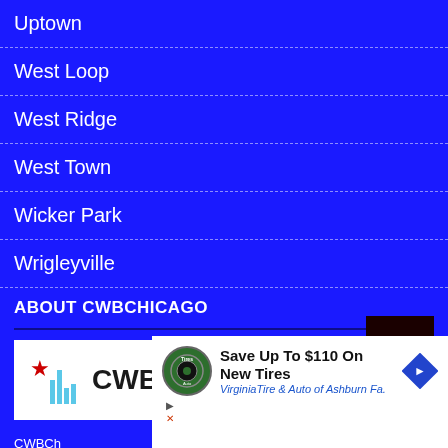Uptown
West Loop
West Ridge
West Town
Wicker Park
Wrigleyville
ABOUT CWBCHICAGO
[Figure (logo): CWBChicago logo with red star, teal city skyline silhouette, black CWB text and red Chicago text on white background]
CWBCh... d grown o... eing provide...
Our co...
[Figure (infographic): Advertisement overlay: Save Up To $110 On New Tires - VirginiaTire & Auto of Ashburn Fa. with tire logo and blue diamond road sign]